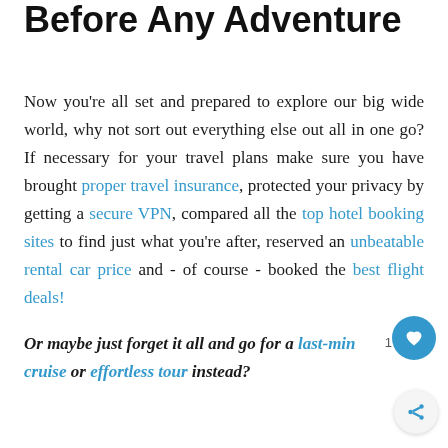Before Any Adventure
Now you're all set and prepared to explore our big wide world, why not sort out everything else out all in one go? If necessary for your travel plans make sure you have brought proper travel insurance, protected your privacy by getting a secure VPN, compared all the top hotel booking sites to find just what you're after, reserved an unbeatable rental car price and - of course - booked the best flight deals!
Or maybe just forget it all and go for a last-minute cruise or effortless tour instead?